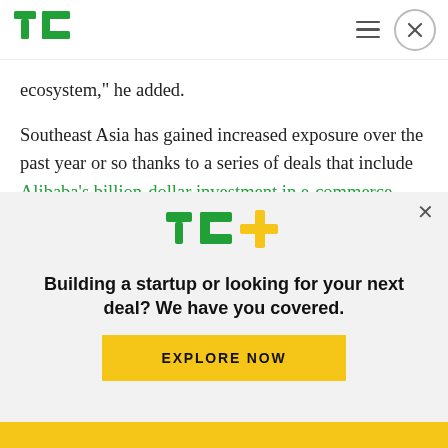TechCrunch
ecosystem," he added.
Southeast Asia has gained increased exposure over the past year or so thanks to a series of deals that include Alibaba’s billion-dollar investment in e-commerce firm Lazada, the rise of Grab and its alliance with Lyft and other Uber rivals, and reports which show that the region — which has a
[Figure (logo): TechCrunch TC+ logo in green and yellow]
Building a startup or looking for your next deal? We have you covered.
EXPLORE NOW